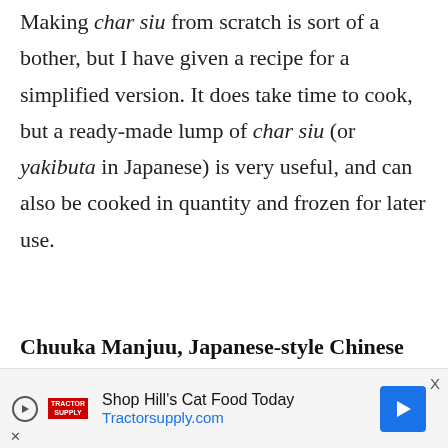Making char siu from scratch is sort of a bother, but I have given a recipe for a simplified version. It does take time to cook, but a ready-made lump of char siu (or yakibuta in Japanese) is very useful, and can also be cooked in quantity and frozen for later use.
Chuuka Manjuu, Japanese-style Chinese steamed buns
[Figure (other): Advertisement banner for Tractor Supply Co. / Hill's Cat Food with play button, logo, text 'Shop Hill's Cat Food Today', URL 'Tractorsupply.com', and blue arrow icon.]